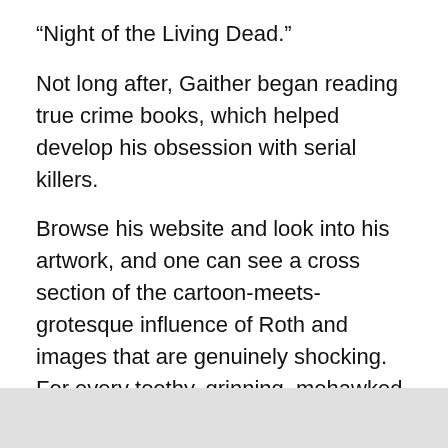“Night of the Living Dead.”
Not long after, Gaither began reading true crime books, which helped develop his obsession with serial killers.
Browse his website and look into his artwork, and one can see a cross section of the cartoon-meets-grotesque influence of Roth and images that are genuinely shocking. For every toothy, grinning, mohawked monster, there is a murderous clown or a deformed infant. In particular, some of the pen-and-ink work is straightforward horror, leaving the cartoon-y